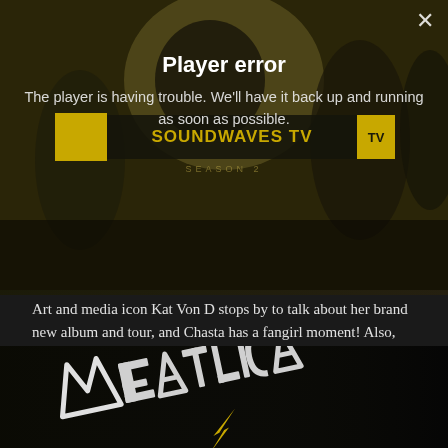[Figure (screenshot): Video player showing SoundWaves TV with blurred figures in background, with a player error overlay message and a close X button]
Player error
The player is having trouble. We'll have it back up and running as soon as possible.
Art and media icon Kat Von D stops by to talk about her brand new album and tour, and Chasta has a fangirl moment! Also, featuring great new videos from Fantastic Negrito, Shirlee Temper, King Dream feat. Rainbow Girls, Treasure, ... Read the rest
[Figure (photo): Metallica logo on dark background, partial view at bottom of page]